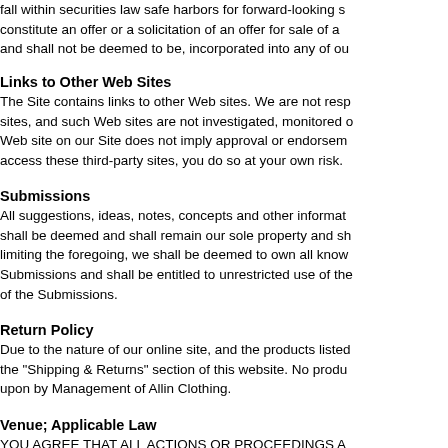fall within securities law safe harbors for forward-looking statements, do not constitute an offer or a solicitation of an offer for sale of any securities, and shall not be deemed to be, incorporated into any of ou
Links to Other Web Sites
The Site contains links to other Web sites. We are not responsible for other sites, and such Web sites are not investigated, monitored or checked. A link to a Web site on our Site does not imply approval or endorsement of. If you access these third-party sites, you do so at your own risk.
Submissions
All suggestions, ideas, notes, concepts and other information you send to us shall be deemed and shall remain our sole property and shall not, without limiting the foregoing, we shall be deemed to own all know-how related to Submissions and shall be entitled to unrestricted use of the Submissions for any purpose of the Submissions.
Return Policy
Due to the nature of our online site, and the products listed, please refer to the "Shipping & Returns" section of this website. No product returns will be upon by Management of Allin Clothing.
Venue; Applicable Law
YOU AGREE THAT ALL ACTIONS OR PROCEEDINGS ARISING OUT OF YOUR USE OF THE SITE OR ANY SAMPLES OR PRODUCTS SHALL BE LITIGATED IN THE CIRCUIT COURT OF HONOLULU, HAWAII OR THE US DISTRICT OF HAWAII . YOU ARE EXPRESSLY SUBMITT